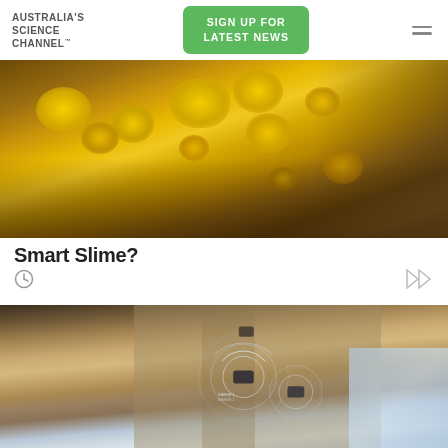AUSTRALIA'S SCIENCE CHANNEL™
SIGN UP FOR LATEST NEWS
[Figure (photo): Close-up photograph of yellow slime mould growing on dark surface]
Smart Slime?
[Figure (photo): Aerial view of road with autonomous vehicles showing sensor/radar circle overlays]